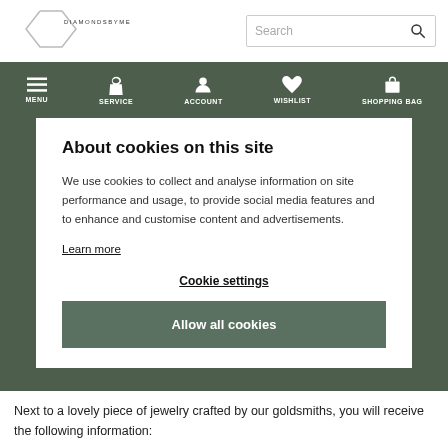[Figure (logo): DiamondsByMe logo — diamond shape outline with text DIAMONDSBYME]
About cookies on this site
We use cookies to collect and analyse information on site performance and usage, to provide social media features and to enhance and customise content and advertisements.
Learn more
Cookie settings
Allow all cookies
Next to a lovely piece of jewelry crafted by our goldsmiths, you will receive the following information: